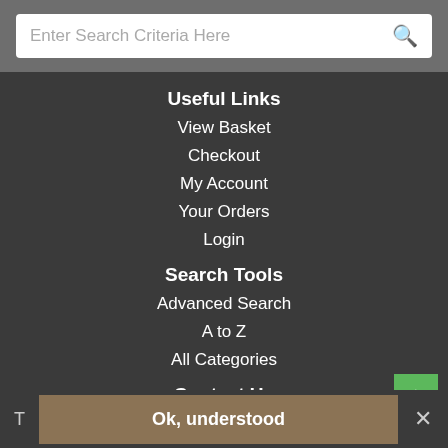Enter Search Criteria Here
Useful Links
View Basket
Checkout
My Account
Your Orders
Login
Search Tools
Advanced Search
A to Z
All Categories
Contact Us
Office Essentials
Ok, understood